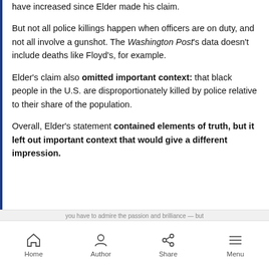have increased since Elder made his claim.
But not all police killings happen when officers are on duty, and not all involve a gunshot. The Washington Post's data doesn't include deaths like Floyd's, for example.
Elder's claim also omitted important context: that black people in the U.S. are disproportionately killed by police relative to their share of the population.
Overall, Elder's statement contained elements of truth, but it left out important context that would give a different impression.
Home  Author  Share  Menu